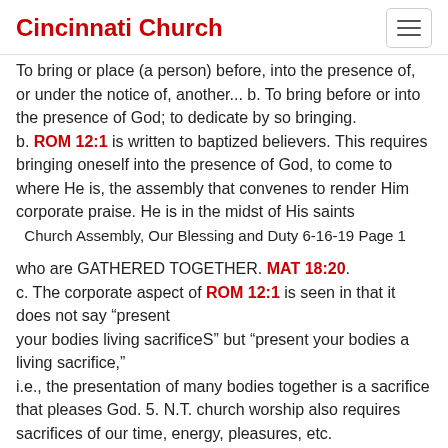Cincinnati Church
To bring or place (a person) before, into the presence of, or under the notice of, another... b. To bring before or into the presence of God; to dedicate by so bringing.
b. ROM 12:1 is written to baptized believers. This requires bringing oneself into the presence of God, to come to where He is, the assembly that convenes to render Him corporate praise. He is in the midst of His saints
  Church Assembly, Our Blessing and Duty 6-16-19 Page 1
who are GATHERED TOGETHER. MAT 18:20.
c. The corporate aspect of ROM 12:1 is seen in that it does not say "present
your bodies living sacrificeS" but "present your bodies a living sacrifice,"
i.e., the presentation of many bodies together is a sacrifice that pleases God. 5. N.T. church worship also requires sacrifices of our time, energy, pleasures, etc.
a. Sacrifice that is no expense to the offerer is not a sacrifice. 1CH 21:24.
a. Sacrifice that is no expense to the offerer is not a